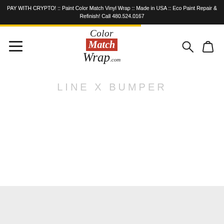PAY WITH CRYPTO! :: Paint Color Match Vinyl Wrap :: Made in USA :: Eco Paint Repair & Refinish! Call 480.524.0167
[Figure (logo): ColorMatchWrap.com logo with italic serif text and red background on 'Match']
LINE X BUMPER